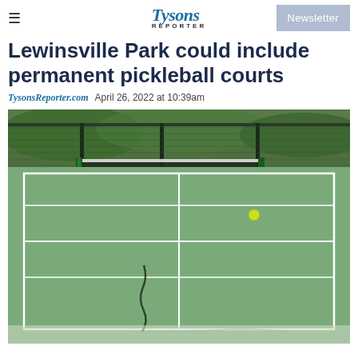Tysons Reporter
Lewinsville Park could include permanent pickleball courts
TysonsReporter.com   April 26, 2022 at 10:39am
[Figure (photo): Outdoor pickleball/tennis courts with green surface, white lines, net visible, yellow-green ball on court, chain-link fence and greenery in background, crack visible on court surface]